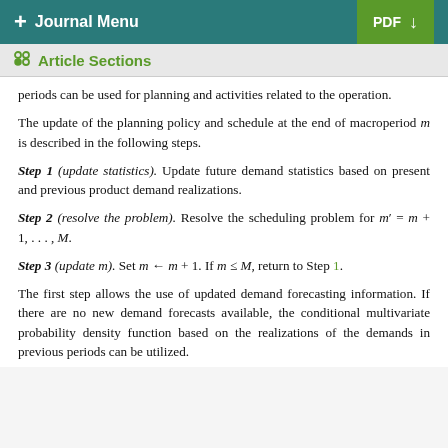+ Journal Menu   PDF ↓
Article Sections
periods can be used for planning and activities related to the operation.
The update of the planning policy and schedule at the end of macroperiod m is described in the following steps.
Step 1 (update statistics). Update future demand statistics based on present and previous product demand realizations.
Step 2 (resolve the problem). Resolve the scheduling problem for m' = m + 1, ..., M.
Step 3 (update m). Set m ← m + 1. If m ≤ M, return to Step 1.
The first step allows the use of updated demand forecasting information. If there are no new demand forecasts available, the conditional multivariate probability density function based on the realizations of the demands in previous periods can be utilized.